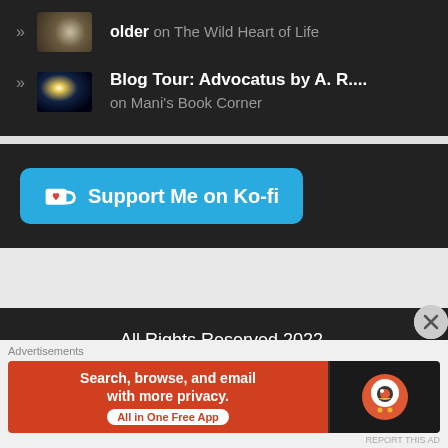» older on The Wild Heart of Life
» Blog Tour: Advocatus by A. R.... on Mani's Book Corner
[Figure (other): Support Me on Ko-fi button (blue rounded rectangle with Ko-fi cup icon)]
All Rights Reserved 2022.
[Figure (other): DuckDuckGo advertisement banner: Search, browse, and email with more privacy. All in One Free App]
Advertisements
REPORT THIS AD